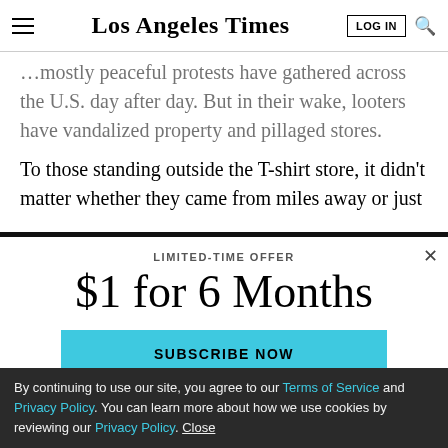Los Angeles Times — LOG IN | Search
...mostly peaceful protests have gathered across the U.S. day after day. But in their wake, looters have vandalized property and pillaged stores.
To those standing outside the T-shirt store, it didn't matter whether they came from miles away or just...
LIMITED-TIME OFFER
$1 for 6 Months
SUBSCRIBE NOW
By continuing to use our site, you agree to our Terms of Service and Privacy Policy. You can learn more about how we use cookies by reviewing our Privacy Policy. Close